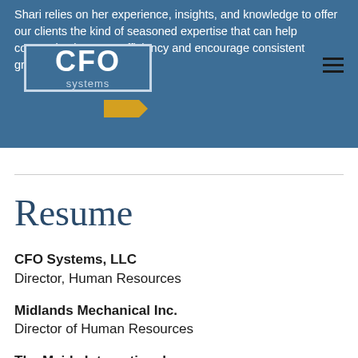Shari relies on her experience, insights, and knowledge to offer our clients the kind of seasoned expertise that can help companies increase efficiency and encourage consistent growth.
[Figure (logo): CFO Systems logo with arrow graphic and 'systems' text]
Resume
CFO Systems, LLC
Director, Human Resources
Midlands Mechanical Inc.
Director of Human Resources
The Maids International
Director of Employee Experience
Consultant